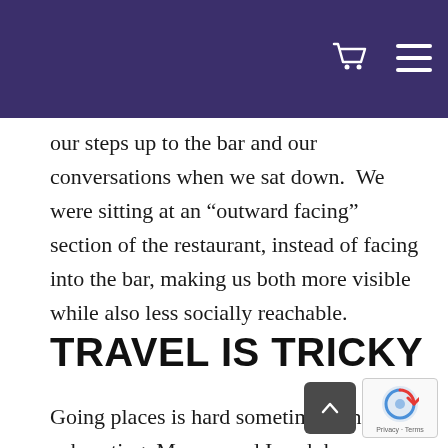our steps up to the bar and our conversations when we sat down.  We were sitting at an “outward facing” section of the restaurant, instead of facing into the bar, making us both more visible while also less socially reachable.
TRAVEL IS TRICKY
Going places is hard sometimes, and exhausting. Marcus and I each have some